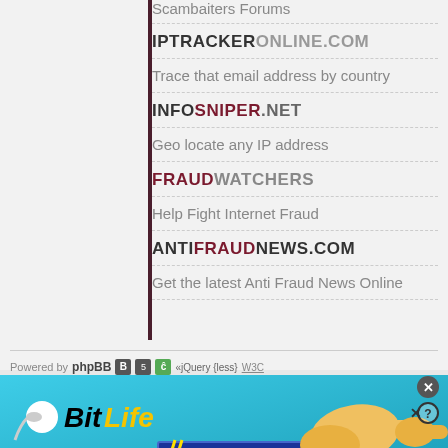Scambaiters Forums
IPTRACKERONLINE.COM
Trace that email address by country
INFOSNIPER.NET
Geo locate any IP address
FRAUDWATCHERS
Help Fight Internet Fraud
ANTIFRAUDNEWS.COM
Get the latest Anti Fraud News Online
Powered by phpBB [icons] Responsive theme by: SiteSplat | Website Design Company
[Figure (screenshot): BitLife advertisement banner with 'NOW WITH GOD MODE' text on a cyan/blue background with a pointing hand graphic]